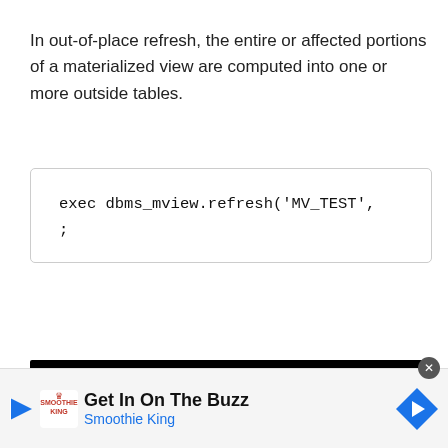In out-of-place refresh, the entire or affected portions of a materialized view are computed into one or more outside tables.
exec dbms_mview.refresh('MV_TEST',
;
[Figure (screenshot): Terminal screenshot showing SQL> exec dbms_mview.refresh('MV_TEST', out_of_place->true, atomic_refresh->false); PL/SQL procedure successfully completed. SQL>]
Get In On The Buzz
Smoothie King